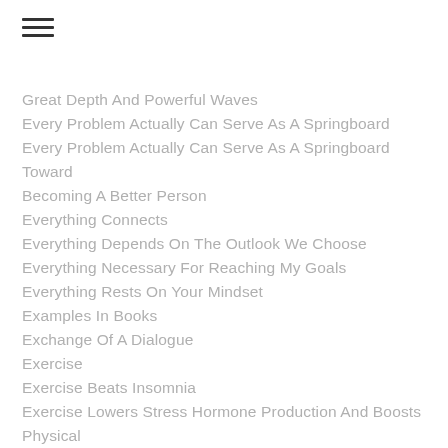Great Depth And Powerful Waves
Every Problem Actually Can Serve As A Springboard
Every Problem Actually Can Serve As A Springboard Toward Becoming A Better Person
Everything Connects
Everything Depends On The Outlook We Choose
Everything Necessary For Reaching My Goals
Everything Rests On Your Mindset
Examples In Books
Exchange Of A Dialogue
Exercise
Exercise Beats Insomnia
Exercise Lowers Stress Hormone Production And Boosts Physical
Exercise Refreshes
Exercising
Exhaustion
Expand